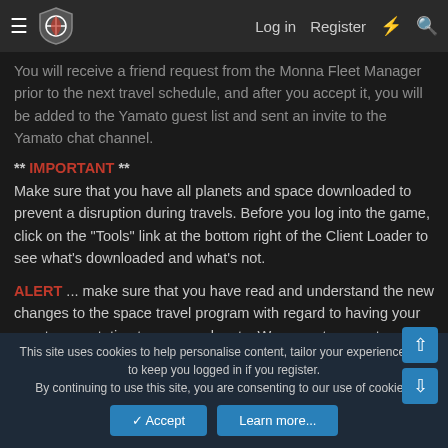Log in  Register
You will receive a friend request from the Monna Fleet Manager prior to the next travel schedule, and after you accept it, you will be added to the Yamato guest list and sent an invite to the Yamato chat channel.
** IMPORTANT **
Make sure that you have all planets and space downloaded to prevent a disruption during travels. Before you log into the game, click on the "Tools" link at the bottom right of the Client Loader to see what's downloaded and what's not.
ALERT ... make sure that you have read and understand the new changes to the space travel program with regard to having your own transportation to access planets. We cannot guarantee a ride down to the planet.
This site uses cookies to help personalise content, tailor your experience and to keep you logged in if you register.
By continuing to use this site, you are consenting to our use of cookies.